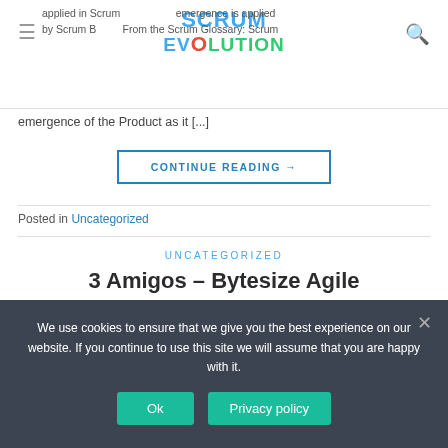Scrum Evolution — website header with logo and navigation
applied in Scrum ... emergence is applied by Scrum B... From the Scrum Glossary: Scrum emergence of the Product as it [...]
CONTINUE READING →
Posted in Uncategorized
UNCATEGORIZED
3 Amigos – Bytesize Agile
POSTED ON JANUARY 27, 2020 BY ALASDAIR MACLEOD
We use cookies to ensure that we give you the best experience on our website. If you continue to use this site we will assume that you are happy with it.
Ok   Privacy policy